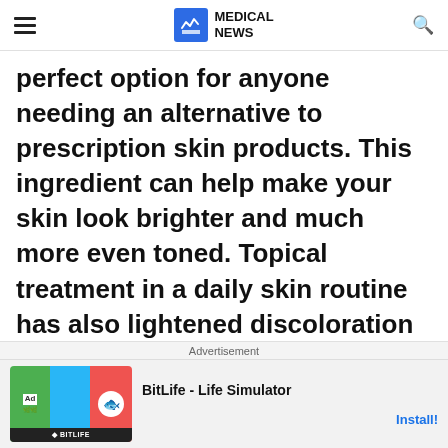MEDICAL NEWS
perfect option for anyone needing an alternative to prescription skin products. This ingredient can help make your skin look brighter and much more even toned. Topical treatment in a daily skin routine has also lightened discoloration caused by melasma and sun damage. Soy is so powerful because of the antioxidant compound isoflavones, which helps
Advertisement
BitLife - Life Simulator  Install!